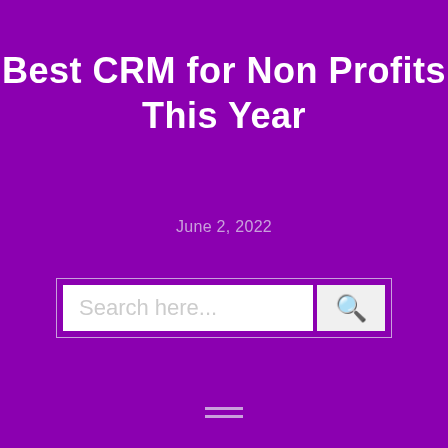Best CRM for Non Profits This Year
June 2, 2022
[Figure (other): Search bar with text input field 'Search here...' and a search button with magnifying glass icon, outlined with a light purple border on a purple background]
[Figure (other): Hamburger menu icon with two horizontal lines in light purple color]